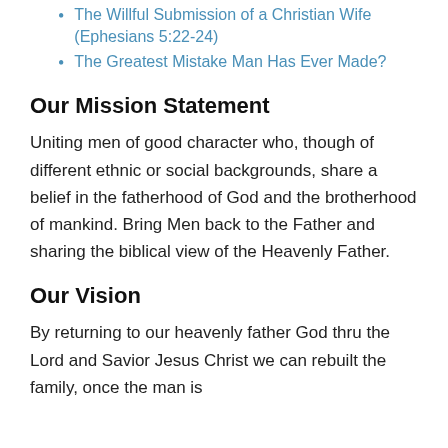The Willful Submission of a Christian Wife (Ephesians 5:22-24)
The Greatest Mistake Man Has Ever Made?
Our Mission Statement
Uniting men of good character who, though of different ethnic or social backgrounds, share a belief in the fatherhood of God and the brotherhood of mankind. Bring Men back to the Father and sharing the biblical view of the Heavenly Father.
Our Vision
By returning to our heavenly father God thru the Lord and Savior Jesus Christ we can rebuilt the family, once the man is